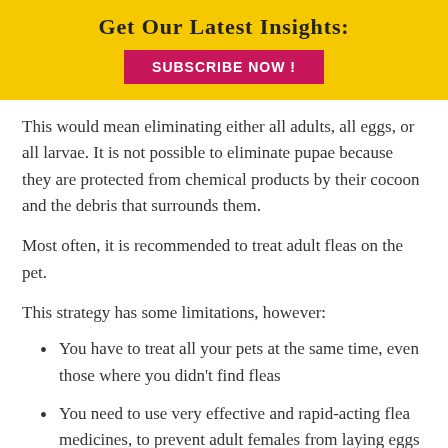Get Our Latest Insights:
SUBSCRIBE NOW !
This would mean eliminating either all adults, all eggs, or all larvae. It is not possible to eliminate pupae because they are protected from chemical products by their cocoon and the debris that surrounds them.
Most often, it is recommended to treat adult fleas on the pet.
This strategy has some limitations, however:
You have to treat all your pets at the same time, even those where you didn't find fleas
You need to use very effective and rapid-acting flea medicines, to prevent adult females from laying eggs